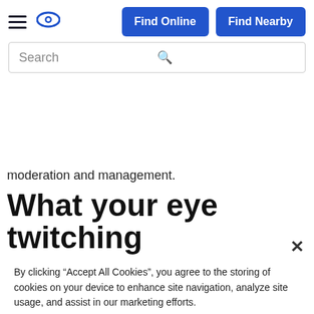Find Online | Find Nearby | Search
moderation and management.
What your eye twitching
By clicking “Accept All Cookies”, you agree to the storing of cookies on your device to enhance site navigation, analyze site usage, and assist in our marketing efforts.
Accept All Cookies
Reject All
Cookies Settings